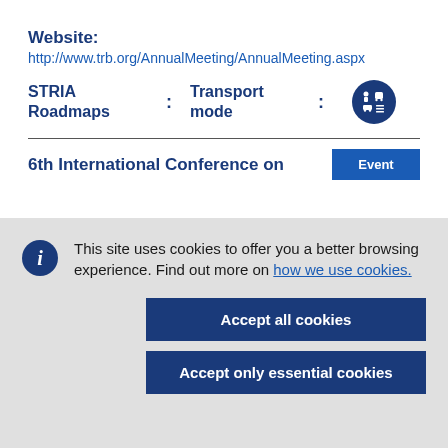Website:
http://www.trb.org/AnnualMeeting/AnnualMeeting.aspx
STRIA Roadmaps : Transport mode :
6th International Conference on
This site uses cookies to offer you a better browsing experience. Find out more on how we use cookies.
Accept all cookies
Accept only essential cookies